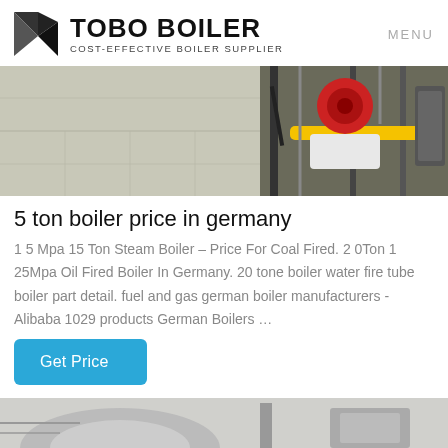TOBO BOILER COST-EFFECTIVE BOILER SUPPLIER MENU
[Figure (photo): Industrial boiler equipment photo showing pipes, a red component, and yellow piping on a tiled floor]
5 ton boiler price in germany
1 5 Mpa 15 Ton Steam Boiler – Price For Coal Fired. 2 0Ton 1 25Mpa Oil Fired Boiler In Germany. 20 tone boiler water fire tube boiler part detail. fuel and gas german boiler manufacturers - Alibaba 1029 products German Boilers …
Get Price
[Figure (photo): Partial view of industrial boiler or mechanical equipment, bottom of page]